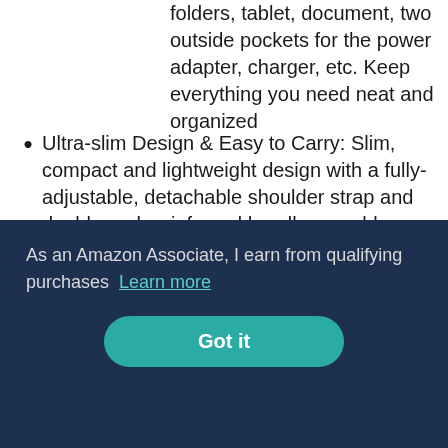folders, tablet, document, two outside pockets for the power adapter, charger, etc. Keep everything you need neat and organized
Ultra-slim Design & Easy to Carry: Slim, compact and lightweight design with a fully-adjustable, detachable shoulder strap and double grab reinforced handles, enable you to carry it as a slim shoulder bag, a carrying briefcase or a sleeve in your backpack or
As an Amazon Associate, I earn from qualifying purchases  Learn more
Got it
from scratching